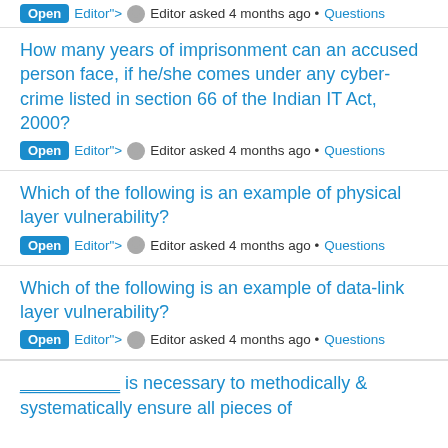Open Editor"> Editor asked 4 months ago • Questions
How many years of imprisonment can an accused person face, if he/she comes under any cyber-crime listed in section 66 of the Indian IT Act, 2000? Open Editor"> Editor asked 4 months ago • Questions
Which of the following is an example of physical layer vulnerability? Open Editor"> Editor asked 4 months ago • Questions
Which of the following is an example of data-link layer vulnerability? Open Editor"> Editor asked 4 months ago • Questions
__________ is necessary to methodically & systematically ensure all pieces of